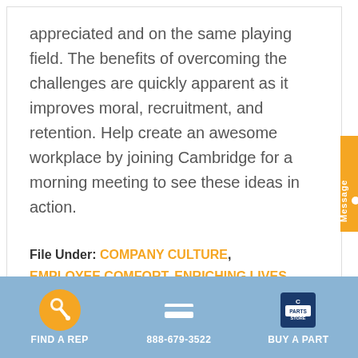appreciated and on the same playing field. The benefits of overcoming the challenges are quickly apparent as it improves moral, recruitment, and retention. Help create an awesome workplace by joining Cambridge for a morning meeting to see these ideas in action.
File Under: COMPANY CULTURE, EMPLOYEE COMFORT, ENRICHING LIVES, LEAN CULTURE
FIND A REP | 888-679-3522 | BUY A PART